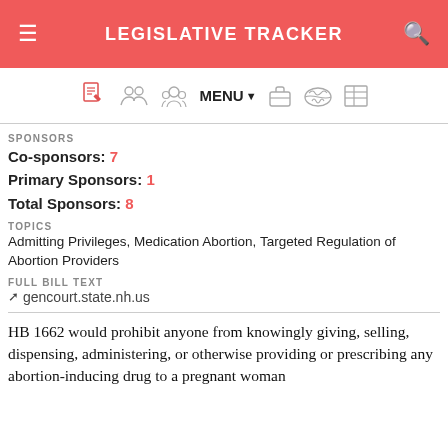LEGISLATIVE TRACKER
[Figure (screenshot): Navigation bar with icons: legislation, sponsors, committee, MENU dropdown, briefcase, map of USA, table grid icons]
SPONSORS
Co-sponsors: 7
Primary Sponsors: 1
Total Sponsors: 8
TOPICS
Admitting Privileges, Medication Abortion, Targeted Regulation of Abortion Providers
FULL BILL TEXT
↗ gencourt.state.nh.us
HB 1662 would prohibit anyone from knowingly giving, selling, dispensing, administering, or otherwise providing or prescribing any abortion-inducing drug to a pregnant woman